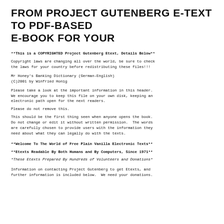FROM PROJECT GUTENBERG E-TEXT TO PDF-BASED E-BOOK FOR YOUR
**This is a COPYRIGHTED Project Gutenberg Etext, Details Below**
Copyright laws are changing all over the world, be sure to check the laws for your country before redistributing these files!!!
Mr Honey's Banking Dictionary (German-English)
(C)2001 by Winfried Honig
Please take a look at the important information in this header. We encourage you to keep this file on your own disk, keeping an electronic path open for the next readers.
Please do not remove this.
This should be the first thing seen when anyone opens the book. Do not change or edit it without written permission.  The words are carefully chosen to provide users with the information they need about what they can legally do with the texts.
**Welcome To The World of Free Plain Vanilla Electronic Texts**
**Etexts Readable By Both Humans and By Computers, Since 1971**
*These Etexts Prepared By Hundreds of Volunteers and Donations*
Information on contacting Project Gutenberg to get Etexts, and further information is included below.  We need your donations.